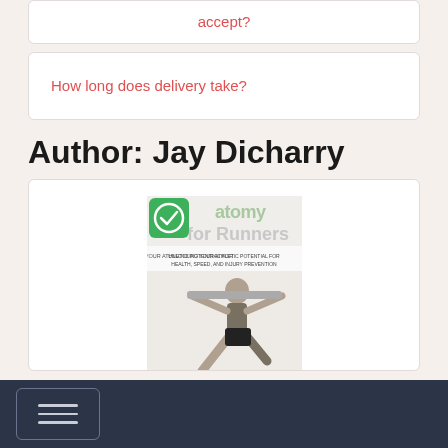accept?
How long does delivery take?
Author: Jay Dicharry
[Figure (photo): Book cover of 'Anatomy for Runners' by Jay Dicharry, MPT, SCS. Shows a woman doing a lunge exercise with a barbell. Subtitle: Unlocking your athletic potential for health, speed, and injury prevention. A green circle with a checkmark overlaid in the top-left corner.]